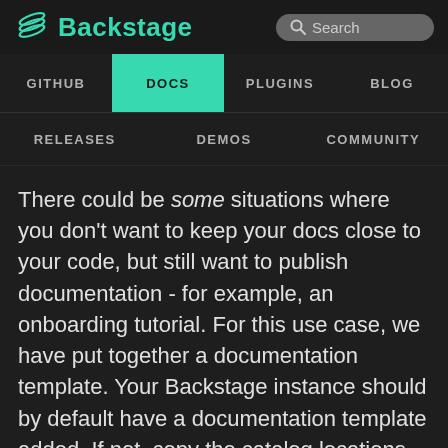Backstage
GITHUB | DOCS | PLUGINS | BLOG
RELEASES | DEMOS | COMMUNITY
There could be some situations where you don't want to keep your docs close to your code, but still want to publish documentation - for example, an onboarding tutorial. For this use case, we have put together a documentation template. Your Backstage instance should by default have a documentation template added. If not, copy the catalog locations from the create-app template to add the documentation template. The template creates a component with only TechDocs configuration and default markdown files, and it